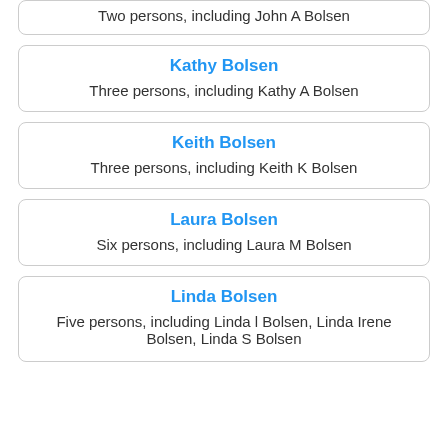Two persons, including John A Bolsen
Kathy Bolsen
Three persons, including Kathy A Bolsen
Keith Bolsen
Three persons, including Keith K Bolsen
Laura Bolsen
Six persons, including Laura M Bolsen
Linda Bolsen
Five persons, including Linda l Bolsen, Linda Irene Bolsen, Linda S Bolsen